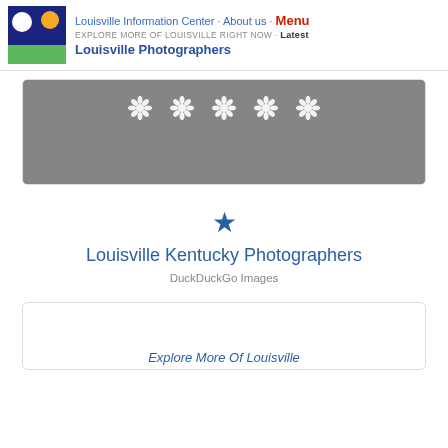Louisville Information Center · About us · Menu
EXPLORE MORE OF LOUISVILLE RIGHT NOW · Latest
Louisville Photographers
[Figure (other): Gray image placeholder box with 5 white snowflake/daisy decorative icons arranged in a row]
Louisville Kentucky Photographers
DuckDuckGo Images
[Figure (other): White card placeholder with partially visible text 'Explore More Of Louisville' at the bottom]